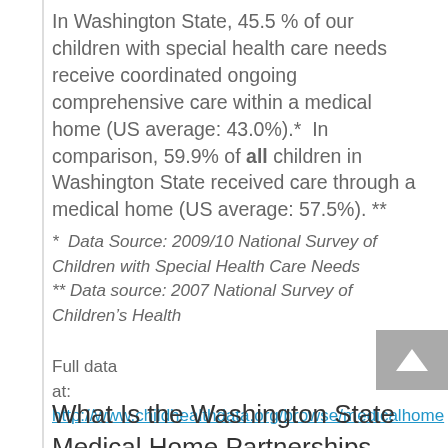In Washington State, 45.5 % of our children with special health care needs receive coordinated ongoing comprehensive care within a medical home (US average: 43.0%).* In comparison, 59.9% of all children in Washington State received care through a medical home (US average: 57.5%). **
* Data Source: 2009/10 National Survey of Children with Special Health Care Needs
** Data source: 2007 National Survey of Children's Health
Full data at: http://www.childhealthdata.org/browse/medicalhome
What Is the Washington State Medical Home Partnerships Project for Children